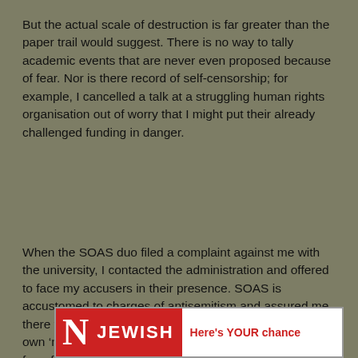But the actual scale of destruction is far greater than the paper trail would suggest. There is no way to tally academic events that are never even proposed because of fear. Nor is there record of self-censorship; for example, I cancelled a talk at a struggling human rights organisation out of worry that I might put their already challenged funding in danger.
When the SOAS duo filed a complaint against me with the university, I contacted the administration and offered to face my accusers in their presence. SOAS is accustomed to charges of antisemitism and assured me there was no need; yet the accusers then exploited their own ‘news’ of their own complaints to frighten students from further projects.
[Figure (other): Bottom banner showing partial masthead of a publication with red background. Large 'N' letter on left, then 'JEWISH' in white bold text on red background, followed by white area with red text reading "Here's YOUR chance"]